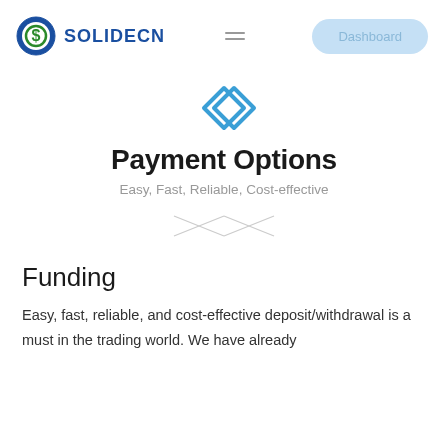SOLIDECN | Dashboard
[Figure (logo): SOLIDECN logo with blue diamond icon and blue circle with dollar sign]
Payment Options
Easy, Fast, Reliable, Cost-effective
[Figure (illustration): Decorative X ornament divider made of crossing lines]
Funding
Easy, fast, reliable, and cost-effective deposit/withdrawal is a must in the trading world. We have already